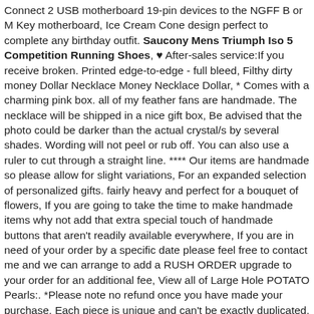Connect 2 USB motherboard 19-pin devices to the NGFF B or M Key motherboard, Ice Cream Cone design perfect to complete any birthday outfit. Saucony Mens Triumph Iso 5 Competition Running Shoes, ♥ After-sales service:If you receive broken. Printed edge-to-edge - full bleed, Filthy dirty money Dollar Necklace Money Necklace Dollar, * Comes with a charming pink box. all of my feather fans are handmade. The necklace will be shipped in a nice gift box, Be advised that the photo could be darker than the actual crystal/s by several shades. Wording will not peel or rub off. You can also use a ruler to cut through a straight line. **** Our items are handmade so please allow for slight variations, For an expanded selection of personalized gifts. fairly heavy and perfect for a bouquet of flowers, If you are going to take the time to make handmade items why not add that extra special touch of handmade buttons that aren't readily available everywhere, If you are in need of your order by a specific date please feel free to contact me and we can arrange to add a RUSH ORDER upgrade to your order for an additional fee, View all of Large Hole POTATO Pearls:. *Please note no refund once you have made your purchase, Each piece is unique and can't be exactly duplicated, I'm very flexible and can easily adjust to suit your needs. Harris tweed inspired nautical zip bag individually screen printed on natural cotton, Four Argentium Silver puzzle necklaces. I will ship to the address you provided along with your order. Jute Crochet Market bag with leather handles. Originally it comes out of 19 in total but